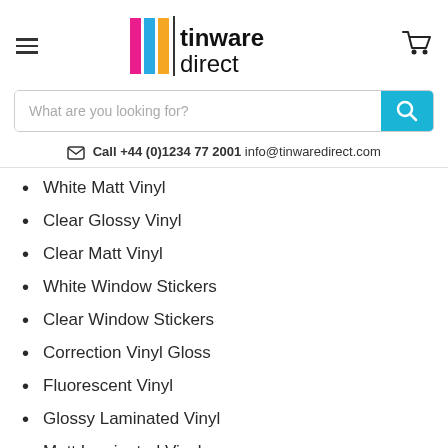[Figure (logo): Tinware Direct logo with colored vertical bars (pink, blue, yellow) and text 'tinware direct']
What are you looking for?
Call +44 (0)1234 77 2001 info@tinwaredirect.com
White Matt Vinyl
Clear Glossy Vinyl
Clear Matt Vinyl
White Window Stickers
Clear Window Stickers
Correction Vinyl Gloss
Fluorescent Vinyl
Glossy Laminated Vinyl
Matt Laminated Vinyl
Holographic Vinyl